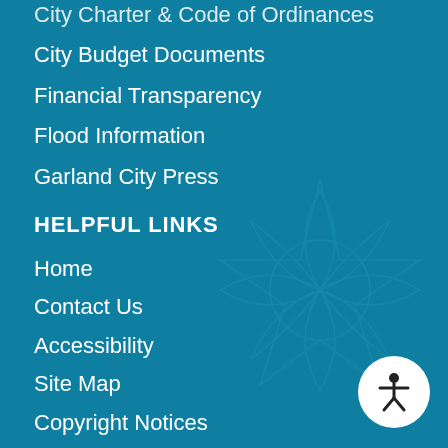City Charter & Code of Ordinances
City Budget Documents
Financial Transparency
Flood Information
Garland City Press
HELPFUL LINKS
Home
Contact Us
Accessibility
Site Map
Copyright Notices